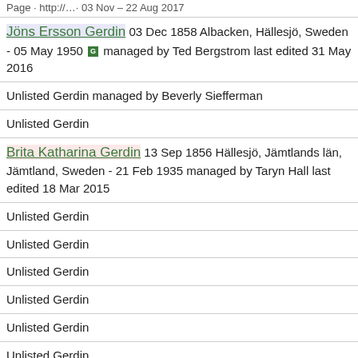Page · http://…· 03 Nov – 22 Aug 2017
Jöns Ersson Gerdin 03 Dec 1858 Albacken, Hällesjö, Sweden - 05 May 1950 managed by Ted Bergstrom last edited 31 May 2016
Unlisted Gerdin managed by Beverly Siefferman
Unlisted Gerdin
Brita Katharina Gerdin 13 Sep 1856 Hällesjö, Jämtlands län, Jämtland, Sweden - 21 Feb 1935 managed by Taryn Hall last edited 18 Mar 2015
Unlisted Gerdin
Unlisted Gerdin
Unlisted Gerdin
Unlisted Gerdin
Unlisted Gerdin
Unlisted Gerdin
Unlisted Gerdin